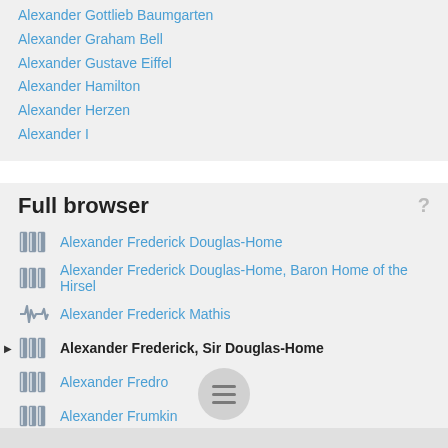Alexander Gottlieb Baumgarten
Alexander Graham Bell
Alexander Gustave Eiffel
Alexander Hamilton
Alexander Herzen
Alexander I
Full browser
Alexander Frederick Douglas-Home
Alexander Frederick Douglas-Home, Baron Home of the Hirsel
Alexander Frederick Mathis
Alexander Frederick, Sir Douglas-Home
Alexander Fredro
Alexander Frumkin
Alexander Fyodorovich Kerensky
Alexander Galich